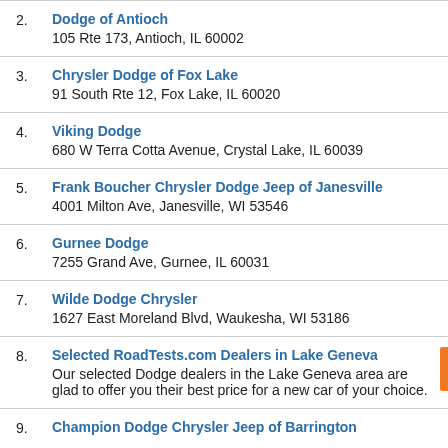2. Dodge of Antioch
105 Rte 173, Antioch, IL 60002
3. Chrysler Dodge of Fox Lake
91 South Rte 12, Fox Lake, IL 60020
4. Viking Dodge
680 W Terra Cotta Avenue, Crystal Lake, IL 60039
5. Frank Boucher Chrysler Dodge Jeep of Janesville
4001 Milton Ave, Janesville, WI 53546
6. Gurnee Dodge
7255 Grand Ave, Gurnee, IL 60031
7. Wilde Dodge Chrysler
1627 East Moreland Blvd, Waukesha, WI 53186
8. Selected RoadTests.com Dealers in Lake Geneva
Our selected Dodge dealers in the Lake Geneva area are glad to offer you their best price for a new car of your choice.
9. Champion Dodge Chrysler Jeep of Barrington